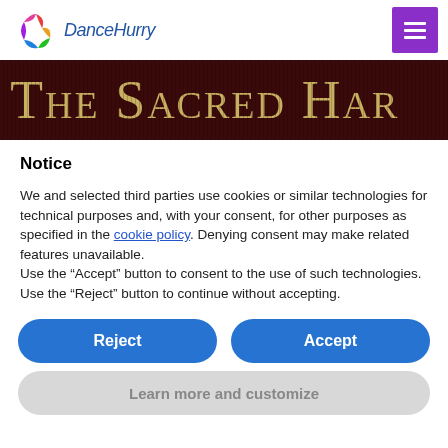[Figure (logo): DanceHurry logo with colorful swirl and blue italic text]
[Figure (photo): Dark brown banner with gold serif text reading 'The Sacred Har...' (partially cropped)]
Notice
We and selected third parties use cookies or similar technologies for technical purposes and, with your consent, for other purposes as specified in the cookie policy. Denying consent may make related features unavailable.
Use the "Accept" button to consent to the use of such technologies. Use the "Reject" button to continue without accepting.
Reject
Accept
Learn more and customize